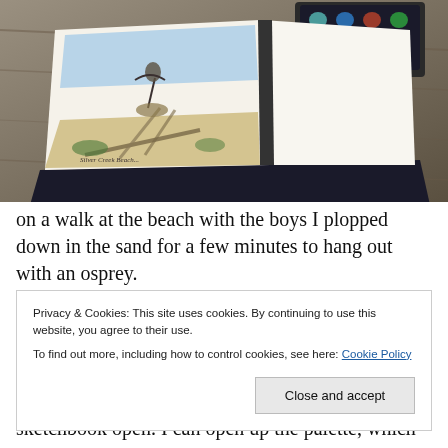[Figure (photo): An open sketchbook lying on a weathered wooden surface (driftwood/dock), showing a watercolor sketch of an osprey at a beach labeled 'Silver Creek Beach...' on the left page, with the right page blank. A watercolor paint palette is visible at the top of the image.]
on a walk at the beach with the boys I plopped down in the sand for a few minutes to hang out with an osprey.
Somehow these sketches always look better
Privacy & Cookies: This site uses cookies. By continuing to use this website, you agree to their use.
To find out more, including how to control cookies, see here: Cookie Policy
sketchbook open. I can open up the palette, which sticks